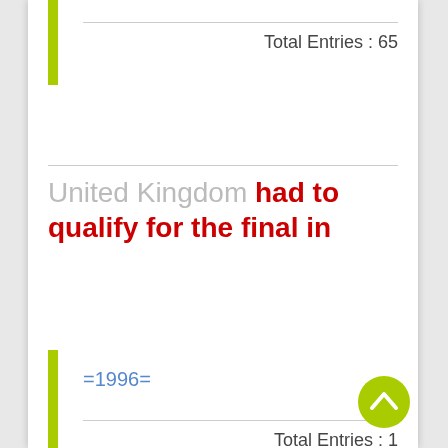Total Entries : 65
United Kingdom had to qualify for the final in
=1996=
Total Entries : 1